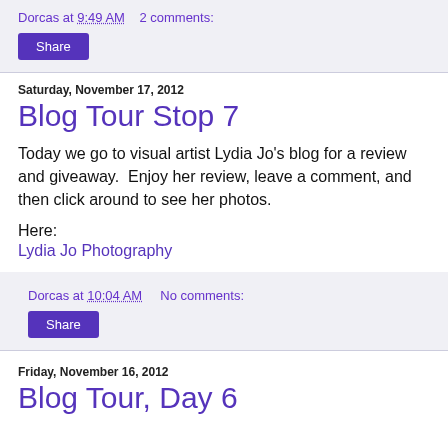Dorcas at 9:49 AM   2 comments:
Share
Saturday, November 17, 2012
Blog Tour Stop 7
Today we go to visual artist Lydia Jo's blog for a review and giveaway.  Enjoy her review, leave a comment, and then click around to see her photos.
Here:
Lydia Jo Photography
Dorcas at 10:04 AM    No comments:
Share
Friday, November 16, 2012
Blog Tour, Day 6